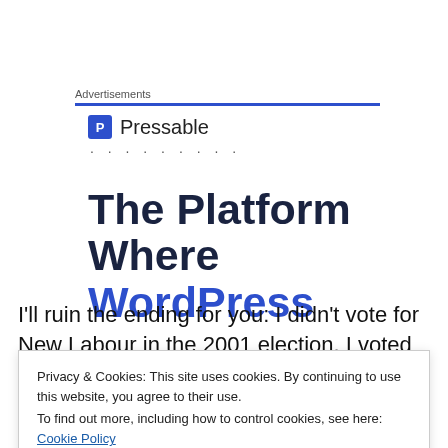Advertisements
[Figure (logo): Pressable logo with blue square icon containing letter P and the text Pressable, followed by dotted ellipsis below]
[Figure (other): Ad headline: The Platform Where WordPress (text cut off)]
I'll ruin the ending for you: I didn't vote for New Labour in the 2001 election. I voted Green, and in my threatening
Privacy & Cookies: This site uses cookies. By continuing to use this website, you agree to their use.
To find out more, including how to control cookies, see here: Cookie Policy
Ecologist magazine in 2001, which was edited by a man